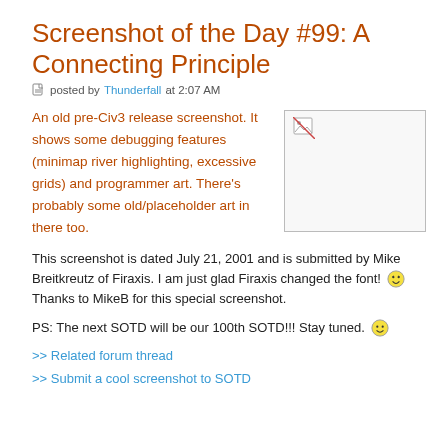Screenshot of the Day #99: A Connecting Principle
posted by Thunderfall at 2:07 AM
[Figure (photo): Broken/placeholder image thumbnail in top right corner]
An old pre-Civ3 release screenshot. It shows some debugging features (minimap river highlighting, excessive grids) and programmer art. There's probably some old/placeholder art in there too.
This screenshot is dated July 21, 2001 and is submitted by Mike Breitkreutz of Firaxis. I am just glad Firaxis changed the font! [smiley] Thanks to MikeB for this special screenshot.
PS: The next SOTD will be our 100th SOTD!!! Stay tuned. [smiley]
>> Related forum thread
>> Submit a cool screenshot to SOTD